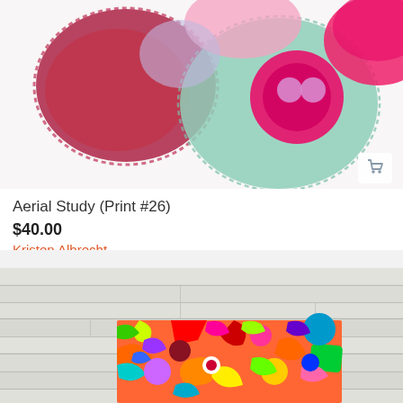[Figure (photo): Top portion of an abstract art print showing colorful blob-like shapes in pink, magenta, teal/green on white background. A shopping cart icon is visible in bottom-right corner.]
Aerial Study (Print #26)
$40.00
Kristen Albrecht
[Figure (photo): A colorful abstract painting on canvas leaning against a white wooden plank wall. The painting features bold, vibrant colors including red, orange, green, purple, blue, yellow, and pink in swirling, organic shapes.]